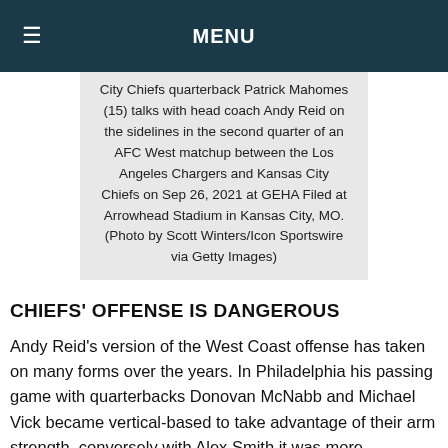MENU
City Chiefs quarterback Patrick Mahomes (15) talks with head coach Andy Reid on the sidelines in the second quarter of an AFC West matchup between the Los Angeles Chargers and Kansas City Chiefs on Sep 26, 2021 at GEHA Filed at Arrowhead Stadium in Kansas City, MO. (Photo by Scott Winters/Icon Sportswire via Getty Images)
CHIEFS' OFFENSE IS DANGEROUS
Andy Reid's version of the West Coast offense has taken on many forms over the years. In Philadelphia his passing game with quarterbacks Donovan McNabb and Michael Vick became vertical-based to take advantage of their arm strength, conversely with Alex Smith it was more conservative and horizontal.